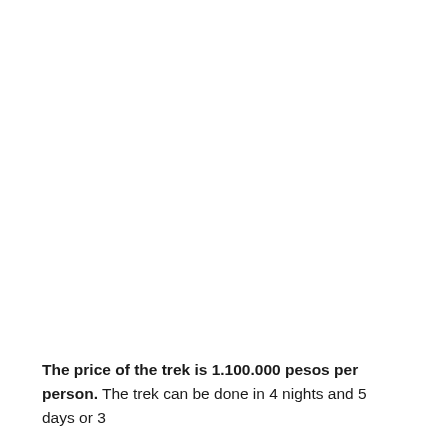The price of the trek is 1.100.000 pesos per person. The trek can be done in 4 nights and 5 days or 3